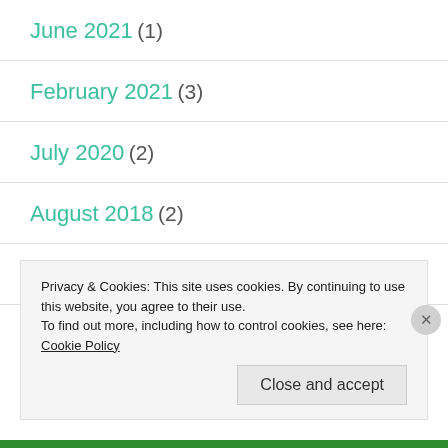June 2021 (1)
February 2021 (3)
July 2020 (2)
August 2018 (2)
May 2018 (2)
April 2018 (2)
Privacy & Cookies: This site uses cookies. By continuing to use this website, you agree to their use. To find out more, including how to control cookies, see here: Cookie Policy
Close and accept